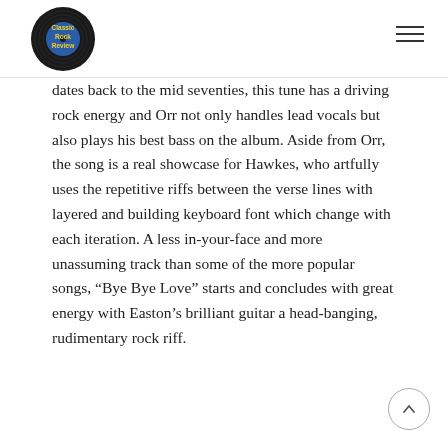Classic Rock Review
dates back to the mid seventies, this tune has a driving rock energy and Orr not only handles lead vocals but also plays his best bass on the album. Aside from Orr, the song is a real showcase for Hawkes, who artfully uses the repetitive riffs between the verse lines with layered and building keyboard font which change with each iteration. A less in-your-face and more unassuming track than some of the more popular songs, “Bye Bye Love” starts and concludes with great energy with Easton’s brilliant guitar a head-banging, rudimentary rock riff.